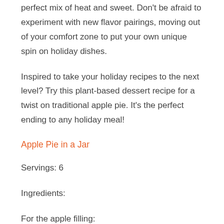perfect mix of heat and sweet. Don't be afraid to experiment with new flavor pairings, moving out of your comfort zone to put your own unique spin on holiday dishes.
Inspired to take your holiday recipes to the next level? Try this plant-based dessert recipe for a twist on traditional apple pie. It's the perfect ending to any holiday meal!
Apple Pie in a Jar
Servings: 6
Ingredients:
For the apple filling: